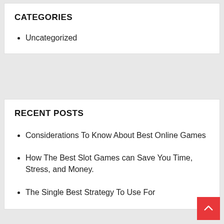CATEGORIES
Uncategorized
RECENT POSTS
Considerations To Know About Best Online Games
How The Best Slot Games can Save You Time, Stress, and Money.
The Single Best Strategy To Use For